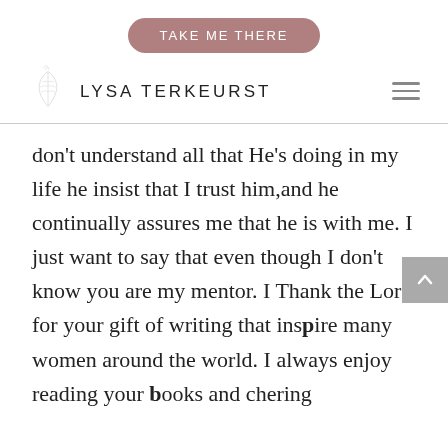TAKE ME THERE
[Figure (logo): Lysa TerKeurst website logo with botanical leaf illustration and hamburger menu icon]
don't understand all that He's doing in my life he insist that I trust him,and he continually assures me that he is with me. I just want to say that even though I don't know you are my mentor. I Thank the Lord for your gift of writing that inspire many women around the world. I always enjoy reading your books and chering